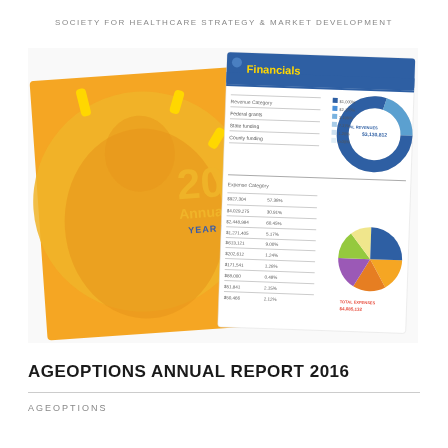SOCIETY FOR HEALTHCARE STRATEGY & MARKET DEVELOPMENT
[Figure (illustration): Cover image of AgeOptions Annual Report 2016, showing two overlapping pages: left page is an orange/yellow circular design with a smiling person and decorative yellow dashes, with text '2016 Annual Report YEAR IN REVIEW'; right page is a financial report page with 'Financials' header, tables with financial data, and two pie/donut charts showing Total Revenues ($3,130,812) and Total Expenses ($4,085,132).]
AGEOPTIONS ANNUAL REPORT 2016
AGEOPTIONS